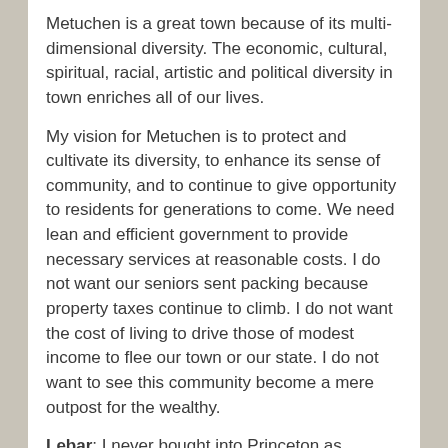Metuchen is a great town because of its multi-dimensional diversity. The economic, cultural, spiritual, racial, artistic and political diversity in town enriches all of our lives.
My vision for Metuchen is to protect and cultivate its diversity, to enhance its sense of community, and to continue to give opportunity to residents for generations to come. We need lean and efficient government to provide necessary services at reasonable costs. I do not want our seniors sent packing because property taxes continue to climb. I do not want the cost of living to drive those of modest income to flee our town or our state. I do not want to see this community become a mere outpost for the wealthy.
Lebar: I never bought into Princeton as Metuchen's development model – more like Cranford, Summit.
3.) What should the borough do about the firehouse?
Monziuso: It is discouraging that our government did